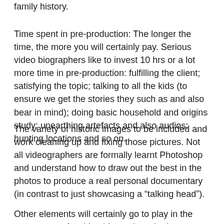family history.
Time spent in pre-production: The longer the time, the more you will certainly pay. Serious video biographers like to invest 10 hrs or a lot more time in pre-production: fulfilling the client; satisfying the topic; talking to all the kids (to ensure we get the stories they such as and also bear in mind); doing basic household and origins study; unearthing artefacts and also audios; hunting locations and so on.
The variety of historic images to be included and work cleaning up and fixing those pictures. Not all videographers are formally learnt Photoshop and understand how to draw out the best in the photos to produce a real personal documentary (in contrast to just showcasing a “talking head”).
Other elements will certainly go to play in the cost or rate of a video biography: whether graphic animations are